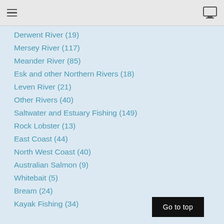☰  [monitor icon]
Derwent River (19)
Mersey River (117)
Meander River (85)
Esk and other Northern Rivers (18)
Leven River (21)
Other Rivers (40)
Saltwater and Estuary Fishing (149)
Rock Lobster (13)
East Coast (44)
North West Coast (40)
Australian Salmon (9)
Whitebait (5)
Bream (24)
Kayak Fishing (34)
Go to top